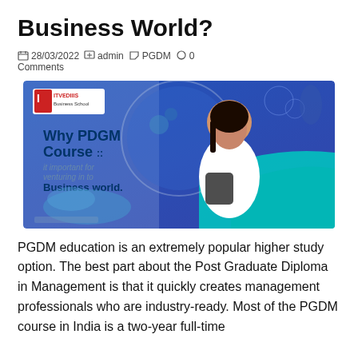Business World?
28/03/2022   admin   PGDM   0 Comments
[Figure (illustration): Promotional banner for PGDM course at a Business School. Shows a young woman with a bag, text reading 'Why PDGM Course :: it important for venturing in to Business world.' on a blue/teal gradient background with the school logo.]
PGDM education is an extremely popular higher study option. The best part about the Post Graduate Diploma in Management is that it quickly creates management professionals who are industry-ready. Most of the PGDM course in India is a two-year full-time